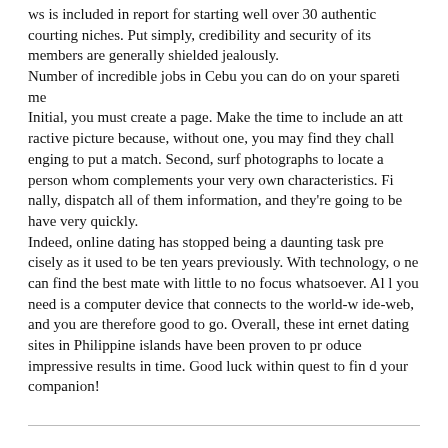ws is included in report for starting well over 30 authentic courting niches. Put simply, credibility and security of its members are generally shielded jealously.
Number of incredible jobs in Cebu you can do on your sparetime
Initial, you must create a page. Make the time to include an attractive picture because, without one, you may find they challenging to put a match. Second, surf photographs to locate a person whom complements your very own characteristics. Finally, dispatch all of them information, and they're going to be have very quickly.
Indeed, online dating has stopped being a daunting task precisely as it used to be ten years previously. With technology, one can find the best mate with little to no focus whatsoever. All you need is a computer device that connects to the world-wide-web, and you are therefore good to go. Overall, these internet dating sites in Philippine islands have been proven to produce impressive results in time. Good luck within quest to find your companion!